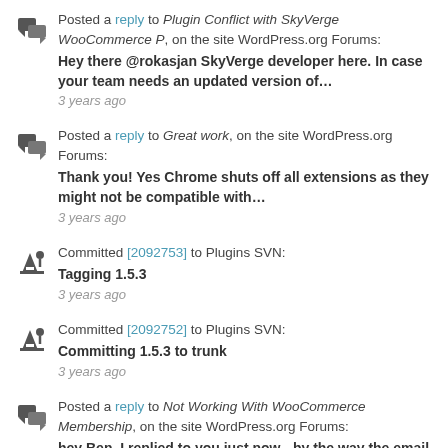Posted a reply to Plugin Conflict with SkyVerge WooCommerce P, on the site WordPress.org Forums: Hey there @rokasjan SkyVerge developer here. In case your team needs an updated version of… — 3 years ago
Posted a reply to Great work, on the site WordPress.org Forums: Thank you! Yes Chrome shuts off all extensions as they might not be compatible with… — 3 years ago
Committed [2092753] to Plugins SVN: Tagging 1.5.3 — 3 years ago
Committed [2092752] to Plugins SVN: Committing 1.5.3 to trunk — 3 years ago
Posted a reply to Not Working With WooCommerce Membership, on the site WordPress.org Forums: hey Ben, I replied to you just now - by the way the email